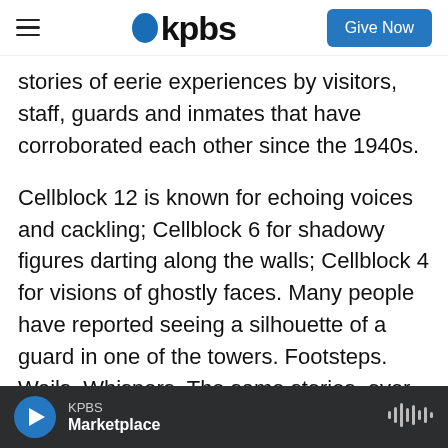KPBS | Give Now
stories of eerie experiences by visitors, staff, guards and inmates that have corroborated each other since the 1940s.
Cellblock 12 is known for echoing voices and cackling; Cellblock 6 for shadowy figures darting along the walls; Cellblock 4 for visions of ghostly faces. Many people have reported seeing a silhouette of a guard in one of the towers. Footsteps. Wails. Whispers. The same stories, over and over again.
One of the most legendary tales comes from Gary
KPBS Marketplace